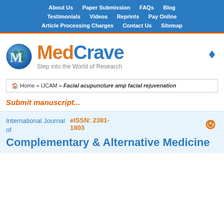About Us   Paper Submission   FAQs   Blog   Testimonials   Videos   Reprints   Pay Online   Article Processing Charges   Contact Us   Sitemap
[Figure (logo): MedCrave logo with globe icon and text 'MedCrave Step into the World of Research']
Home » IJCAM » Facial acupuncture amp facial rejuvenation
Submit manuscript...
International Journal of
eISSN: 2381-1803
Complementary & Alternative Medicine